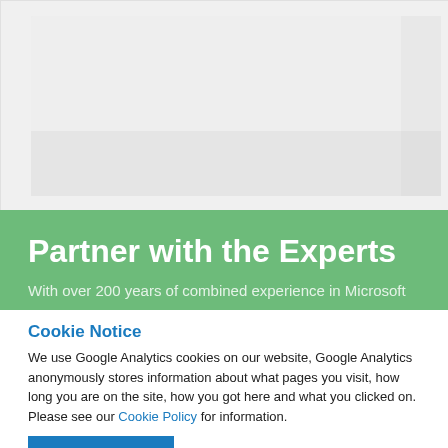[Figure (photo): Blurred/faded image area at the top of the page, light gray background with faint shapes]
Partner with the Experts
With over 200 years of combined experience in Microsoft
Cookie Notice
We use Google Analytics cookies on our website, Google Analytics anonymously stores information about what pages you visit, how long you are on the site, how you got here and what you clicked on. Please see our Cookie Policy for information.
Accept Cookies